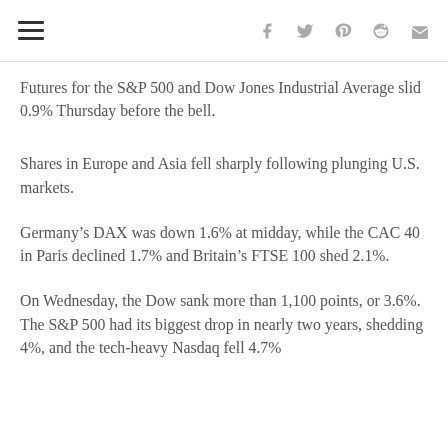☰ [site logo] f 𝕏 𝗽 reddit ✉
Futures for the S&P 500 and Dow Jones Industrial Average slid 0.9% Thursday before the bell.
Shares in Europe and Asia fell sharply following plunging U.S. markets.
Germany's DAX was down 1.6% at midday, while the CAC 40 in Paris declined 1.7% and Britain's FTSE 100 shed 2.1%.
On Wednesday, the Dow sank more than 1,100 points, or 3.6%. The S&P 500 had its biggest drop in nearly two years, shedding 4%, and the tech-heavy Nasdaq fell 4.7%...